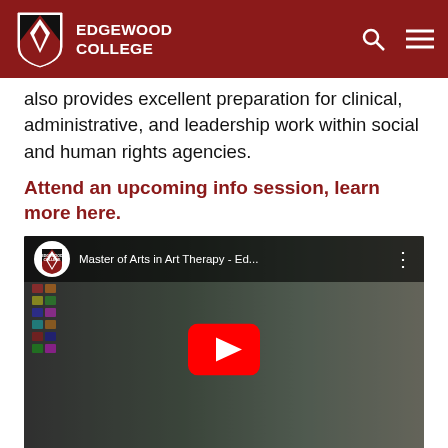EDGEWOOD COLLEGE
also provides excellent preparation for clinical, administrative, and leadership work within social and human rights agencies.
Attend an upcoming info session, learn more here.
[Figure (screenshot): YouTube video thumbnail for 'Master of Arts in Art Therapy - Ed...' by Edgewood College, showing a woman in an art studio with a play button overlay.]